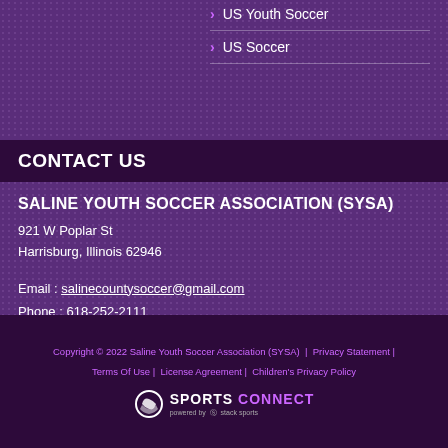US Youth Soccer
US Soccer
CONTACT US
SALINE YOUTH SOCCER ASSOCIATION (SYSA)
921 W Poplar St
Harrisburg, Illinois 62946
Email : salinecountysoccer@gmail.com
Phone : 618-252-2111
Copyright © 2022 Saline Youth Soccer Association (SYSA) | Privacy Statement | Terms Of Use | License Agreement | Children's Privacy Policy
[Figure (logo): Sports Connect powered by Stack Sports logo]